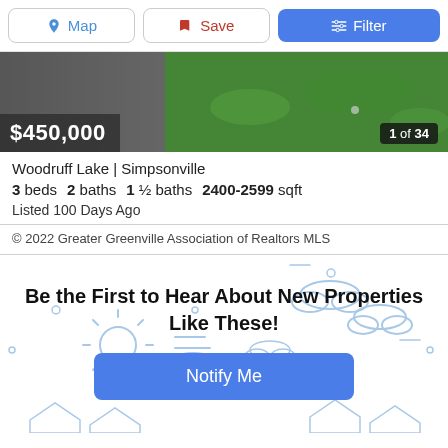[Figure (screenshot): Toolbar with Map, Save, and Filter buttons]
[Figure (photo): Listing photo showing grass/lawn area with price $450,000 overlay and '1 of 34' photo counter]
Woodruff Lake | Simpsonville
3 beds  2 baths  1 ½ baths  2400-2599 sqft
Listed 100 Days Ago
© 2022 Greater Greenville Association of Realtors MLS
Be the First to Hear About New Properties Like These!
[Figure (illustration): Decorative weather icons (sun, clouds) background illustration]